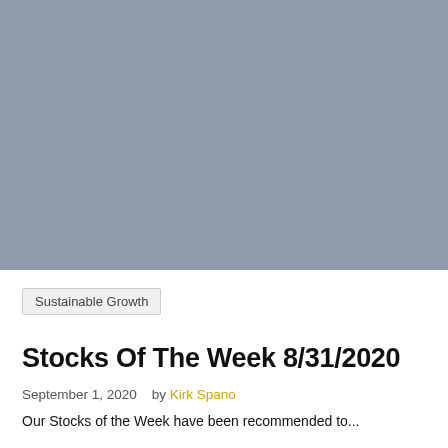[Figure (photo): Large grey-blue background image filling the upper portion of the page]
Sustainable Growth
Stocks Of The Week 8/31/2020
September 1, 2020   by Kirk Spano
Our Stocks of the Week have been recommended to...